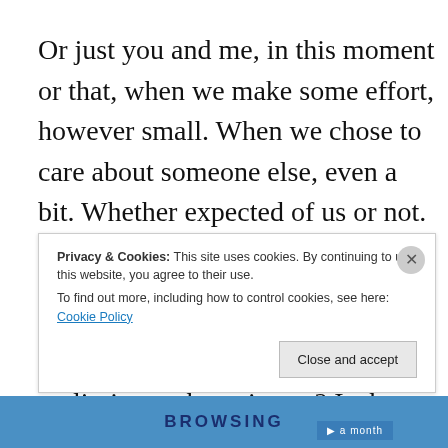Or just you and me, in this moment or that, when we make some effort, however small. When we chose to care about someone else, even a bit. Whether expected of us or not. But we do it.
OK maybe more delusion, more conditioning, but why put that set on limits on the universe? Is that just
Privacy & Cookies: This site uses cookies. By continuing to use this website, you agree to their use.
To find out more, including how to control cookies, see here: Cookie Policy
[Close and accept]